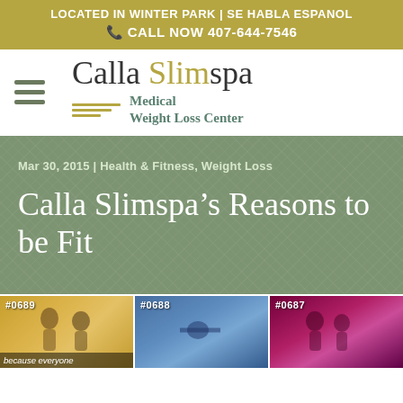LOCATED IN WINTER PARK | SE HABLA ESPANOL
CALL NOW 407-644-7546
[Figure (logo): Calla Slimspa Medical Weight Loss Center logo with hamburger menu icon on left, stylized text and gold lines]
Mar 30, 2015 | Health & Fitness, Weight Loss
Calla Slimspa’s Reasons to be Fit
[Figure (photo): Three thumbnail images labeled #0689, #0688, #0687 showing fitness/health scenes with partial caption text 'because everyone']